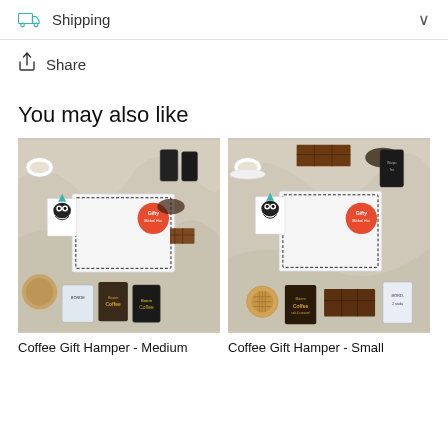Shipping
Share
You may also like
[Figure (photo): Top-down photo of Coffee Gift Hamper - Medium, showing a white gift box with 'Gifty' sticker, dog greeting card, coffee packets, stroopwafels, and a coffee cup on a marble surface.]
[Figure (photo): Top-down photo of Coffee Gift Hamper - Small, showing a white gift box with 'Gifty' sticker, dog greeting card, chocolate bar, coffee packets, stroopwafels, and a coffee cup on a marble surface.]
Coffee Gift Hamper - Medium
Coffee Gift Hamper - Small